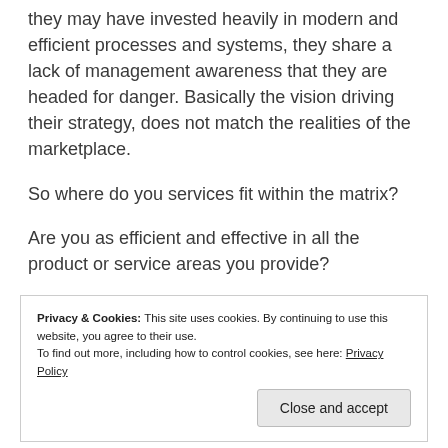they may have invested heavily in modern and efficient processes and systems, they share a lack of management awareness that they are headed for danger. Basically the vision driving their strategy, does not match the realities of the marketplace.
So where do you services fit within the matrix?
Are you as efficient and effective in all the product or service areas you provide?
Privacy & Cookies: This site uses cookies. By continuing to use this website, you agree to their use. To find out more, including how to control cookies, see here: Privacy Policy
Close and accept